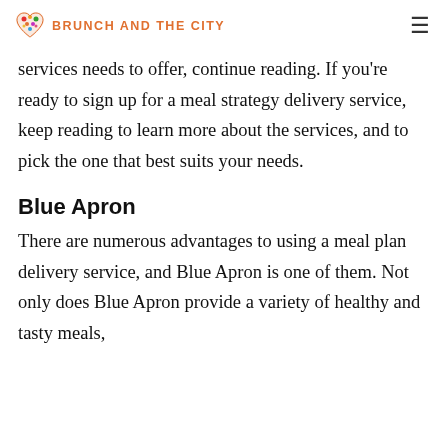BRUNCH AND THE CITY
services needs to offer, continue reading. If you're ready to sign up for a meal strategy delivery service, keep reading to learn more about the services, and to pick the one that best suits your needs.
Blue Apron
There are numerous advantages to using a meal plan delivery service, and Blue Apron is one of them. Not only does Blue Apron provide a variety of healthy and tasty meals,